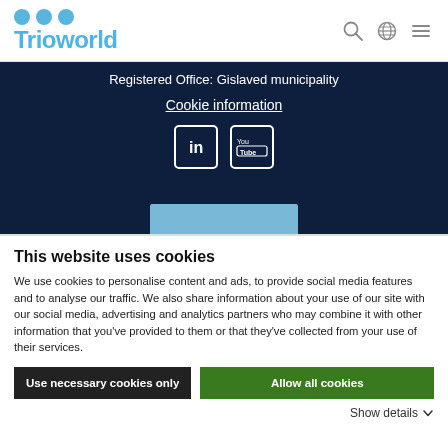[Figure (logo): Trioworld logo with three blue circles and blue text 'Trioworld']
Registered Office: Gislaved municipality
Cookie information
[Figure (illustration): LinkedIn and YouTube social media icons on dark navy background]
This website uses cookies
We use cookies to personalise content and ads, to provide social media features and to analyse our traffic. We also share information about your use of our site with our social media, advertising and analytics partners who may combine it with other information that you've provided to them or that they've collected from your use of their services.
Use necessary cookies only
Allow all cookies
Show details